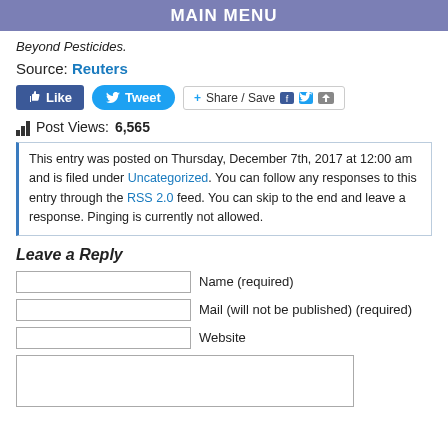MAIN MENU
Beyond Pesticides.
Source: Reuters
[Figure (other): Social sharing buttons: Like, Tweet, Share/Save with Facebook and Twitter icons]
Post Views: 6,565
This entry was posted on Thursday, December 7th, 2017 at 12:00 am and is filed under Uncategorized. You can follow any responses to this entry through the RSS 2.0 feed. You can skip to the end and leave a response. Pinging is currently not allowed.
Leave a Reply
Name (required)
Mail (will not be published) (required)
Website